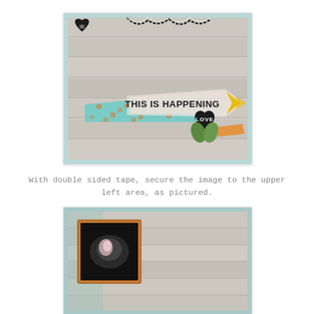[Figure (photo): Scrapbook photo showing a wooden plank background with a teal arrow banner reading 'THIS IS HAPPENING', a black heart embellishment with 'LOVE' text, gold chevron arrows, polka dot teal washi tape, a black heart with photo clips, and black-and-white twine/string at top.]
With double sided tape, secure the image to the upper left area, as pictured.
[Figure (photo): Scrapbook photo showing a wooden plank background with a teal grid/graph paper border, and an ultrasound image in a brown/orange frame placed in the upper left area of the layout.]